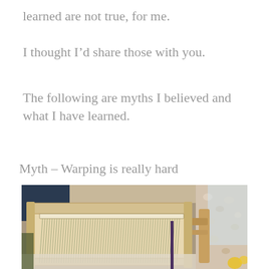learned are not true, for me.
I thought I’d share those with you.
The following are myths I believed and what I have learned.
Myth – Warping is really hard
[Figure (photo): A weaving loom set up on a table, with green warp threads strung across it. A wooden chair and floral curtains are visible in the background near a window.]